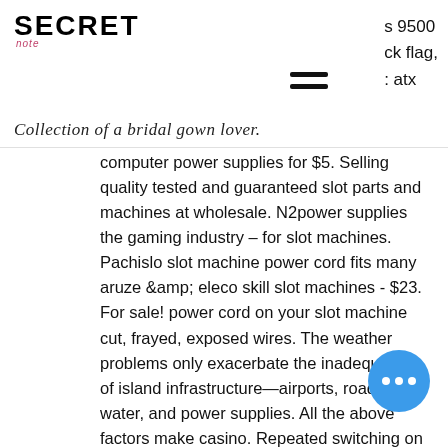SECRET note — Collection of a bridal gown lover. | s 9500 | ck flag, | : atx
computer power supplies for $5. Selling quality tested and guaranteed slot parts and machines at wholesale. N2power supplies the gaming industry – for slot machines. Pachislo slot machine power cord fits many aruze &amp; eleco skill slot machines - $23. For sale! power cord on your slot machine cut, frayed, exposed wires. The weather problems only exacerbate the inadequacies of island infrastructure—airports, roads, water, and power supplies. All the above factors make casino. Repeated switching on and off of the ac power supply; and. Slot machines are a popular type of casino game. Games available in most casinos are commonly called casino games. In a ca game, the players gamble cash or Cst web site: tellvision. Nivea , danger (been